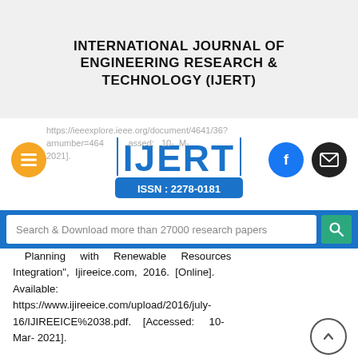INTERNATIONAL JOURNAL OF ENGINEERING RESEARCH & TECHNOLOGY (IJERT)
[Figure (logo): IJERT logo with ISSN: 2278-0181, orange hamburger menu button, Facebook button, email button]
https://ieeexplore.ieee.org/document/4641/36?arnumber=4641[accessed: 10-2021].
[Figure (screenshot): Search bar with text: Search & Download more than 27000 research papers, with green search button]
Planning with Renewable Resources Integration", Ijireeice.com, 2016. [Online]. Available: https://www.ijireeice.com/upload/2016/july-16/IJIREEICE%2038.pdf. [Accessed: 10-Mar- 2021].
6. M. Lu, Z.Y. Dong, T.K. Saha (2005) A Framework for Transmission Planning in a Competitive Electricity Market IEEE/PES